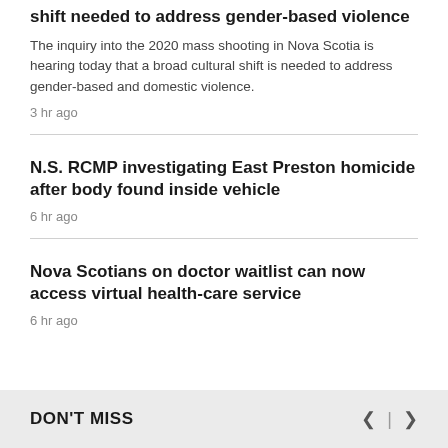shift needed to address gender-based violence
The inquiry into the 2020 mass shooting in Nova Scotia is hearing today that a broad cultural shift is needed to address gender-based and domestic violence.
3 hr ago
N.S. RCMP investigating East Preston homicide after body found inside vehicle
6 hr ago
Nova Scotians on doctor waitlist can now access virtual health-care service
6 hr ago
DON'T MISS